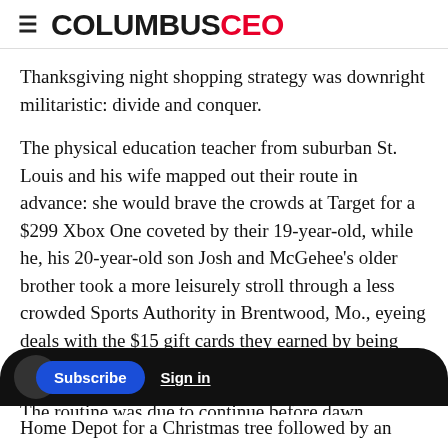COLUMBUS CEO
Thanksgiving night shopping strategy was downright militaristic: divide and conquer.
The physical education teacher from suburban St. Louis and his wife mapped out their route in advance: she would brave the crowds at Target for a $299 Xbox One coveted by their 19-year-old, while he, his 20-year-old son Josh and McGehee's older brother took a more leisurely stroll through a less crowded Sports Authority in Brentwood, Mo., eyeing deals with the $15 gift cards they earned by being among the first 80 customers in line.
The routine was due to continue before dawn
Home Depot for a Christmas tree followed by an